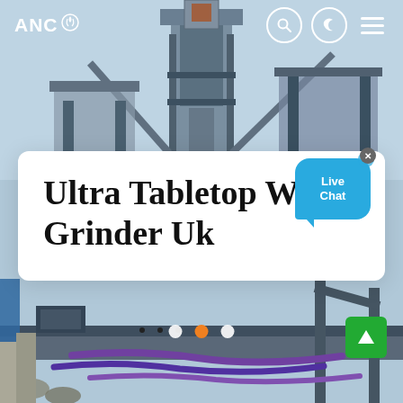ANC
[Figure (photo): Industrial machinery / grinder plant equipment photographed from below against a light blue sky, showing metal frames, conveyors, and blue/purple pipes]
Ultra Tabletop Wet Grinder Uk
[Figure (other): Live Chat speech bubble button in blue with close X icon]
[Figure (other): Carousel slide indicator dots: white, orange (active), white]
[Figure (other): Scroll-to-top green button with up arrow]